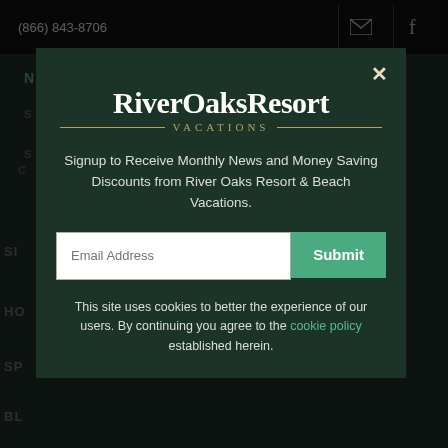(866) 843-8706
NEWSLETTER SIGN-UP
[Figure (screenshot): River Oaks Resort Vacations modal popup with newsletter signup form and cookie notice]
RiverOaksResort VACATIONS
Signup to Receive Monthly News and Money Saving Discounts from River Oaks Resort & Beach Vacations.
Email Address
Submit
This site uses cookies to better the experience of our users. By continuing you agree to the cookie policy established herein.